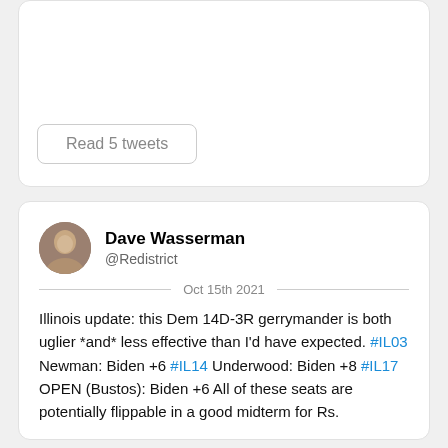[Figure (screenshot): Top portion of a social media card with a 'Read 5 tweets' button]
Read 5 tweets
[Figure (screenshot): Twitter/social media post by Dave Wasserman (@Redistrict), dated Oct 15th 2021]
Dave Wasserman
@Redistrict
Oct 15th 2021
Illinois update: this Dem 14D-3R gerrymander is both uglier *and* less effective than I'd have expected. #IL03 Newman: Biden +6 #IL14 Underwood: Biden +8 #IL17 OPEN (Bustos): Biden +6 All of these seats are potentially flippable in a good midterm for Rs.